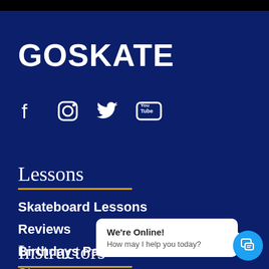GOSKATE
[Figure (logo): Social media icons: Facebook, Instagram, Twitter, YouTube]
Lessons
Skateboard Lessons
Reviews
Birthdays Parties
Store
Instructors
[Figure (screenshot): Chat widget: We're Online! How may I help you today?]